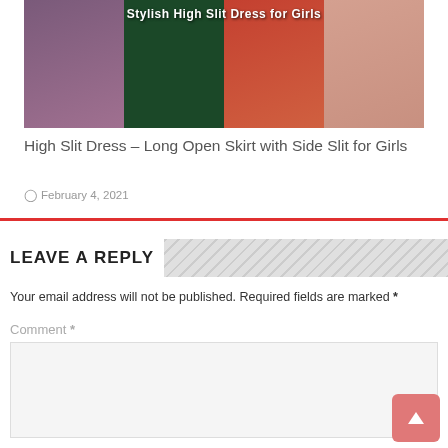[Figure (photo): Collage of high slit dresses and long open skirts with side slits for girls, showing four outfit panels with text overlay]
High Slit Dress – Long Open Skirt with Side Slit for Girls
February 4, 2021
LEAVE A REPLY
Your email address will not be published. Required fields are marked *
Comment *